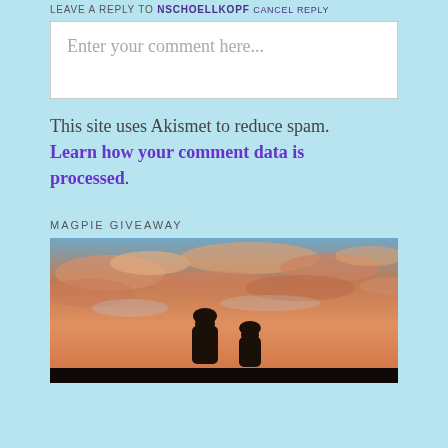LEAVE A REPLY TO NSCHOELLKOPF CANCEL REPLY
Enter your comment here...
This site uses Akismet to reduce spam. Learn how your comment data is processed.
MAGPIE GIVEAWAY
[Figure (photo): Silhouette of two people in hooded jackets against a dramatic orange and pink sunset sky with clouds]